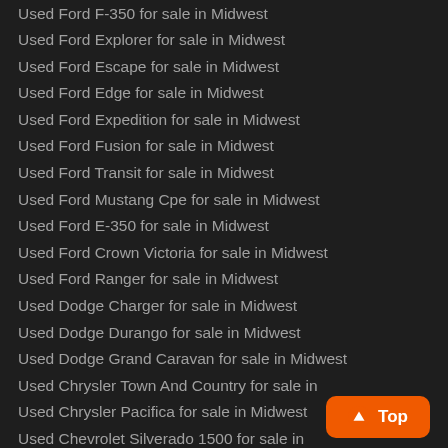Used Ford F-350 for sale in Midwest
Used Ford Explorer for sale in Midwest
Used Ford Escape for sale in Midwest
Used Ford Edge for sale in Midwest
Used Ford Expedition for sale in Midwest
Used Ford Fusion for sale in Midwest
Used Ford Transit for sale in Midwest
Used Ford Mustang Cpe for sale in Midwest
Used Ford E-350 for sale in Midwest
Used Ford Crown Victoria for sale in Midwest
Used Ford Ranger for sale in Midwest
Used Dodge Charger for sale in Midwest
Used Dodge Durango for sale in Midwest
Used Dodge Grand Caravan for sale in Midwest
Used Chrysler Town And Country for sale in
Used Chrysler Pacifica for sale in Midwest
Used Chevrolet Silverado 1500 for sale in
Used Chevrolet Tahoe for sale in Midwest
Used Chevrolet Equinox for sale in Midwest
Used Chevrolet Traverse for sale in Midwest
Used Chevrolet Suburban for sale in Midwest
Used Chevrolet Impala for sale in Midwest
Used Chevrolet Silverado 2500 for sale in